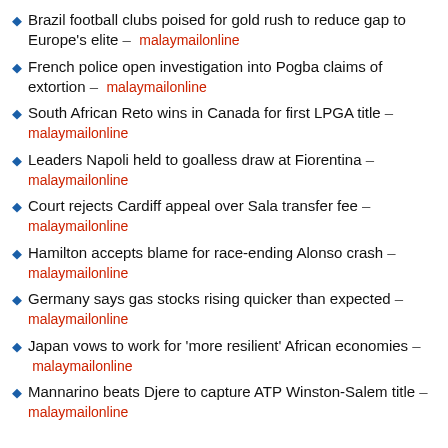Brazil football clubs poised for gold rush to reduce gap to Europe's elite – malaymailonline
French police open investigation into Pogba claims of extortion – malaymailonline
South African Reto wins in Canada for first LPGA title – malaymailonline
Leaders Napoli held to goalless draw at Fiorentina – malaymailonline
Court rejects Cardiff appeal over Sala transfer fee – malaymailonline
Hamilton accepts blame for race-ending Alonso crash – malaymailonline
Germany says gas stocks rising quicker than expected – malaymailonline
Japan vows to work for 'more resilient' African economies – malaymailonline
Mannarino beats Djere to capture ATP Winston-Salem title – malaymailonline